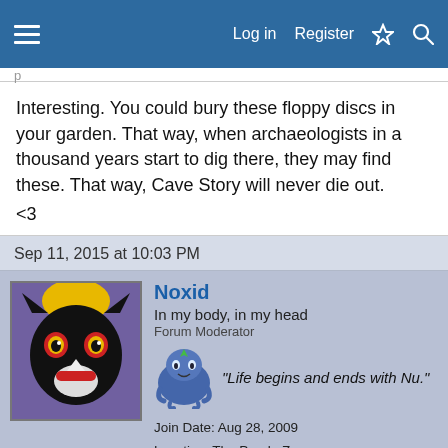Log in  Register
Interesting. You could bury these floppy discs in your garden. That way, when archaeologists in a thousand years start to dig there, they may find these. That way, Cave Story will never die out.
<3
Sep 11, 2015 at 10:03 PM
[Figure (illustration): Avatar of user Noxid: dark cartoon character with red eyes on purple background]
Noxid
In my body, in my head
Forum Moderator
"Life begins and ends with Nu."
Join Date: Aug 28, 2009
Location: The Purple Zone
Posts: 5998
Sep 11, 2015  #13